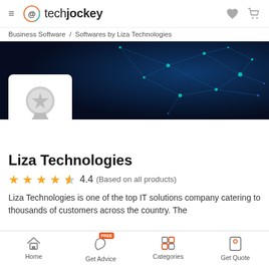techjockey
Business Software / Softwares by Liza Technologies
[Figure (screenshot): Dark blue network/tech banner background with connected glowing nodes and lines]
[Figure (logo): White card with gray award badge/star ribbon placeholder logo for Liza Technologies]
Liza Technologies
4.4 (Based on all products)
Liza Technologies is one of the top IT solutions company catering to thousands of customers across the country. The
Home   Get Advice   Categories   Get Quote